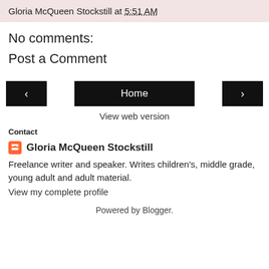Gloria McQueen Stockstill at 5:51 AM
No comments:
Post a Comment
[Figure (other): Navigation buttons: left arrow, Home button, right arrow]
View web version
Contact
Gloria McQueen Stockstill
Freelance writer and speaker. Writes children's, middle grade, young adult and adult material.
View my complete profile
Powered by Blogger.